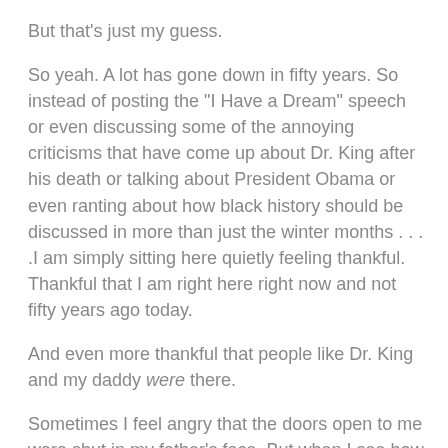But that's just my guess.
So yeah. A lot has gone down in fifty years. So instead of posting the "I Have a Dream" speech or even discussing some of the annoying criticisms that have come up about Dr. King after his death or talking about President Obama or even ranting about how black history should be discussed in more than just the winter months . . . .I am simply sitting here quietly feeling thankful. Thankful that I am right here right now and not fifty years ago today.
And even more thankful that people like Dr. King and my daddy were there.
Sometimes I feel angry that the doors open to me were shut in my father's face. But when I see how proud he and my mother are of their children and what we have become, I feel a little better. And when I listen to his stories of growing up poor, black, and one of eleven children in the epicenter of the Jim Crow era--and I see what he has become--I feel proud, too.